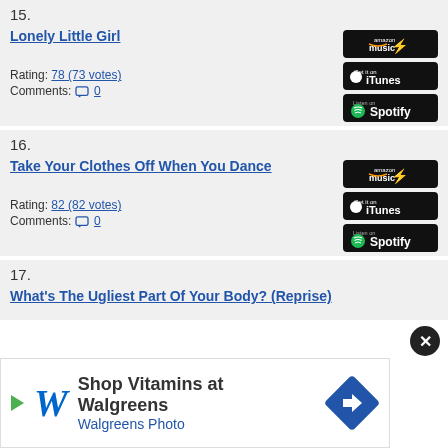15. Lonely Little Girl
Rating: 78 (73 votes)
Comments: 0
16. Take Your Clothes Off When You Dance
Rating: 82 (82 votes)
Comments: 0
17. What's The Ugliest Part Of Your Body? (Reprise)
[Figure (screenshot): Walgreens advertisement banner: Shop Vitamins at Walgreens, Walgreens Photo]